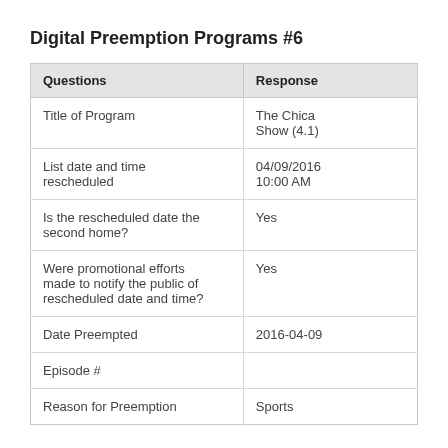Digital Preemption Programs #6
| Questions | Response |
| --- | --- |
| Title of Program | The Chica Show (4.1) |
| List date and time rescheduled | 04/09/2016 10:00 AM |
| Is the rescheduled date the second home? | Yes |
| Were promotional efforts made to notify the public of rescheduled date and time? | Yes |
| Date Preempted | 2016-04-09 |
| Episode # |  |
| Reason for Preemption | Sports |